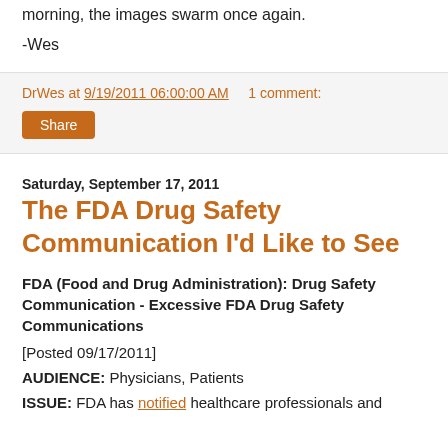morning, the images swarm once again.
-Wes
DrWes at 9/19/2011 06:00:00 AM   1 comment:
Share
Saturday, September 17, 2011
The FDA Drug Safety Communication I'd Like to See
FDA (Food and Drug Administration): Drug Safety Communication - Excessive FDA Drug Safety Communications
[Posted 09/17/2011]
AUDIENCE: Physicians, Patients
ISSUE: FDA has notified healthcare professionals and